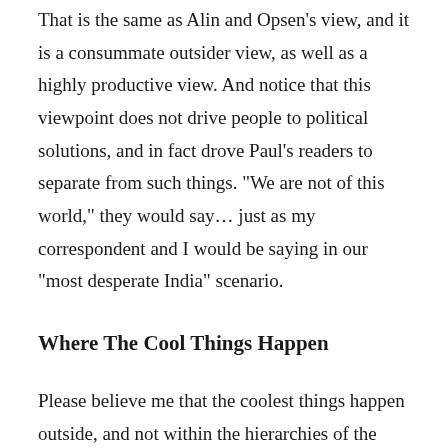That is the same as Alin and Opsen's view, and it is a consummate outsider view, as well as a highly productive view. And notice that this viewpoint does not drive people to political solutions, and in fact drove Paul's readers to separate from such things. "We are not of this world," they would say… just as my correspondent and I would be saying in our "most desperate India" scenario.
Where The Cool Things Happen
Please believe me that the coolest things happen outside, and not within the hierarchies of the status quo. Trudging along in the middle of the crowd is a recipe for a boring life. (That includes getting wasted with the crowd, political rants your parents will hate, and other forms of merely reactionary rebellion.)